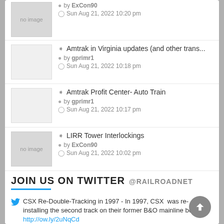by ExCon90 · Sun Aug 21, 2022 10:20 pm
Amtrak in Virginia updates (and other trans... · by gprimr1 · Sun Aug 21, 2022 10:18 pm
Amtrak Profit Center- Auto Train · by gprimr1 · Sun Aug 21, 2022 10:17 pm
LIRR Tower Interlockings · by ExCon90 · Sun Aug 21, 2022 10:02 pm
JOIN US ON TWITTER @RAILROADNET
CSX Re-Double-Tracking in 1997 - In 1997, CSX was re-installing the second track on their former B&O mainline betwe... http://ow.ly/2uNqCd · Posted on Feb 10, 2013
Iowa in Danger of Losing Passenger Rail Grant - According to local Iowa sources, the coming year is an important tim... http://ow.ly/2u4qKv · Posted on Jan 2, 2013